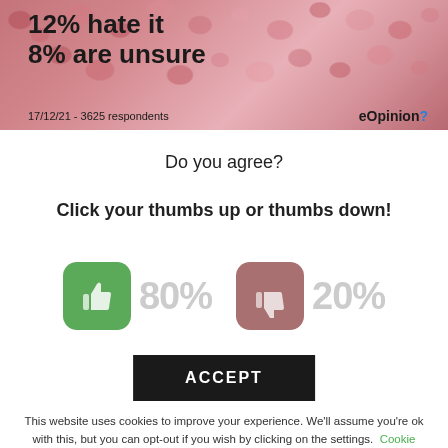[Figure (infographic): Survey result banner with pink/red heart confetti background showing '12% hate it' and '8% are unsure', dated 17/12/21 with 3625 respondents, branded eOpinion]
Do you agree?
Click your thumbs up or thumbs down!
[Figure (infographic): Green thumbs up button icon with percentage label, and red/brown thumbs down button icon with percentage label]
ACCEPT
This website uses cookies to improve your experience. We'll assume you're ok with this, but you can opt-out if you wish by clicking on the settings. Cookie settings